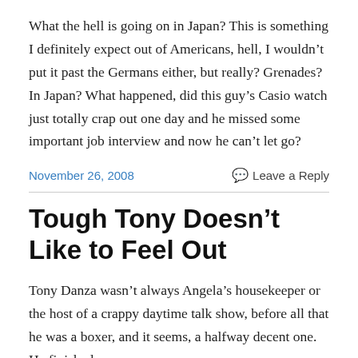What the hell is going on in Japan? This is something I definitely expect out of Americans, hell, I wouldn't put it past the Germans either, but really? Grenades? In Japan? What happened, did this guy's Casio watch just totally crap out one day and he missed some important job interview and now he can't let go?
November 26, 2008
Leave a Reply
Tough Tony Doesn't Like to Feel Out
Tony Danza wasn't always Angela's housekeeper or the host of a crappy daytime talk show, before all that he was a boxer, and it seems, a halfway decent one. He finished